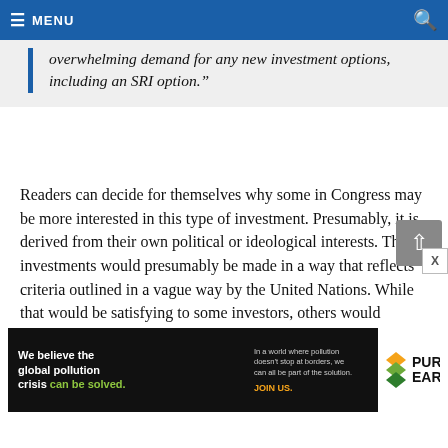MENU
overwhelming demand for any new investment options, including an SRI option.”
Readers can decide for themselves why some in Congress may be more interested in this type of investment. Presumably, it is derived from their own political or ideological interests. The investments would presumably be made in a way that reflects criteria outlined in a vague way by the United Nations. While that would be satisfying to some investors, others would probably find that
[Figure (screenshot): Advertisement banner for Pure Earth organization: 'We believe the global pollution crisis can be solved.' with green text and Pure Earth logo]